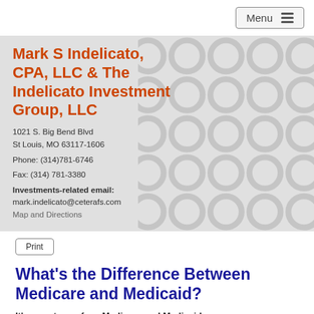Menu
Mark S Indelicato, CPA, LLC & The Indelicato Investment Group, LLC
1021 S. Big Bend Blvd
St Louis, MO 63117-1606

Phone: (314)781-6746

Fax: (314) 781-3380

Investments-related email:
mark.indelicato@ceterafs.com
Map and Directions
Print
What's the Difference Between Medicare and Medicaid?
It's easy to confuse Medicare and Medicaid, because they're similar sounding and both...